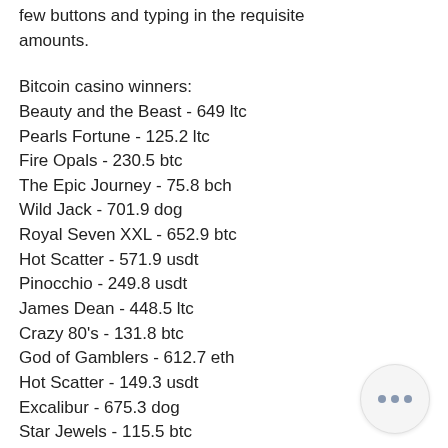few buttons and typing in the requisite amounts.
Bitcoin casino winners:
Beauty and the Beast - 649 ltc
Pearls Fortune - 125.2 ltc
Fire Opals - 230.5 btc
The Epic Journey - 75.8 bch
Wild Jack - 701.9 dog
Royal Seven XXL - 652.9 btc
Hot Scatter - 571.9 usdt
Pinocchio - 249.8 usdt
James Dean - 448.5 ltc
Crazy 80's - 131.8 btc
God of Gamblers - 612.7 eth
Hot Scatter - 149.3 usdt
Excalibur - 675.3 dog
Star Jewels - 115.5 btc
Secrets of Atlantis - 733.2 eth
Play Bitcoin slots: